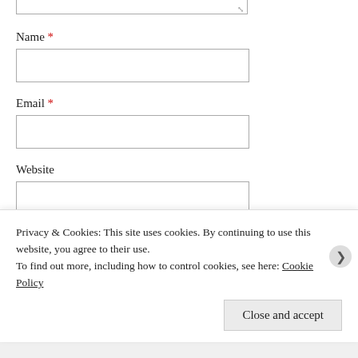Name *
Email *
Website
Post Comment
Notify me of new comments via email.
Privacy & Cookies: This site uses cookies. By continuing to use this website, you agree to their use. To find out more, including how to control cookies, see here: Cookie Policy
Close and accept